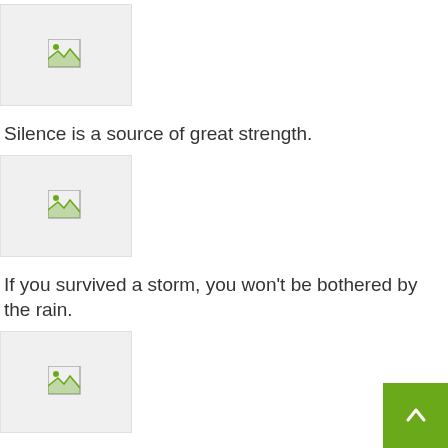[Figure (other): Broken image placeholder icon]
Silence is a source of great strength.
[Figure (other): Broken image placeholder icon]
If you survived a storm, you won't be bothered by the rain.
[Figure (other): Broken image placeholder icon]
When anger arises, think of the consequences.
[Figure (other): Broken image placeholder icon]
The glory is not in never falling, but in rising every time you fall.